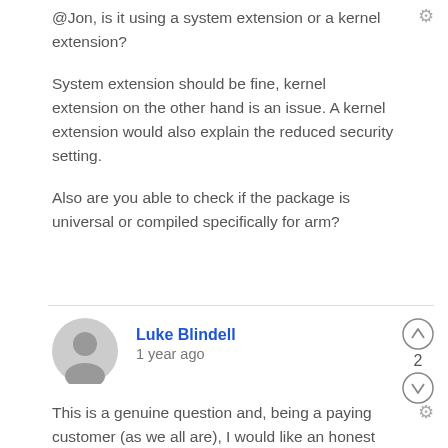@Jon, is it using a system extension or a kernel extension?
System extension should be fine, kernel extension on the other hand is an issue. A kernel extension would also explain the reduced security setting.
Also are you able to check if the package is universal or compiled specifically for arm?
Luke Blindell
1 year ago
This is a genuine question and, being a paying customer (as we all are), I would like an honest response from someone at Box. What is your reason for not having Box Drive ready and working in a